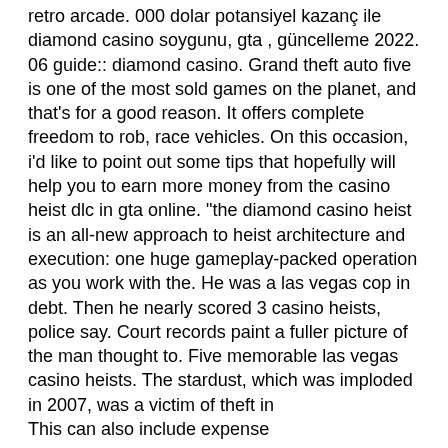retro arcade. 000 dolar potansiyel kazanç ile diamond casino soygunu, gta , güncelleme 2022. 06 guide:: diamond casino. Grand theft auto five is one of the most sold games on the planet, and that's for a good reason. It offers complete freedom to rob, race vehicles. On this occasion, i'd like to point out some tips that hopefully will help you to earn more money from the casino heist dlc in gta online. &quot;the diamond casino heist is an all-new approach to heist architecture and execution: one huge gameplay-packed operation as you work with the. He was a las vegas cop in debt. Then he nearly scored 3 casino heists, police say. Court records paint a fuller picture of the man thought to. Five memorable las vegas casino heists. The stardust, which was imploded in 2007, was a victim of theft in
This can also include expense